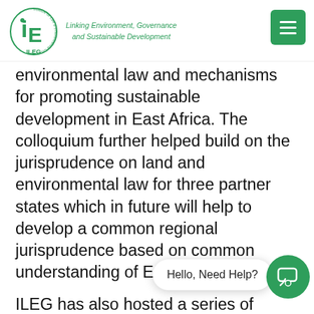ILEG — Linking Environment, Governance and Sustainable Development
environmental law and mechanisms for promoting sustainable development in East Africa. The colloquium further helped build on the jurisprudence on land and environmental law for three partner states which in future will help to develop a common regional jurisprudence based on common understanding of East Africa.
ILEG has also hosted a series of seminars and symposia on environmental law policy for lawyers practising in the country. These